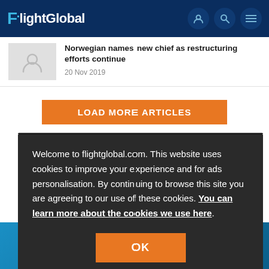FlightGlobal
Norwegian names new chief as restructuring efforts continue
20 Nov 2019
LOAD MORE ARTICLES
Welcome to flightglobal.com. This website uses cookies to improve your experience and for ads personalisation. By continuing to browse this site you are agreeing to our use of these cookies. You can learn more about the cookies we use here.
OK
our webinars? All webinars are available